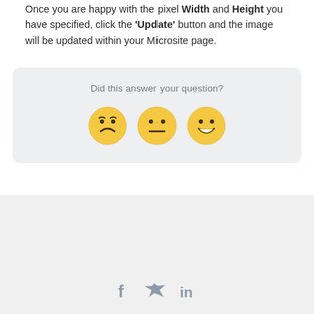Once you are happy with the pixel Width and Height you have specified, click the 'Update' button and the image will be updated within your Microsite page.
[Figure (infographic): Feedback widget with question 'Did this answer your question?' and three emoji faces: frowning, neutral, and smiling]
[Figure (infographic): Social share icons: Facebook (f), Twitter (bird), LinkedIn (in)]